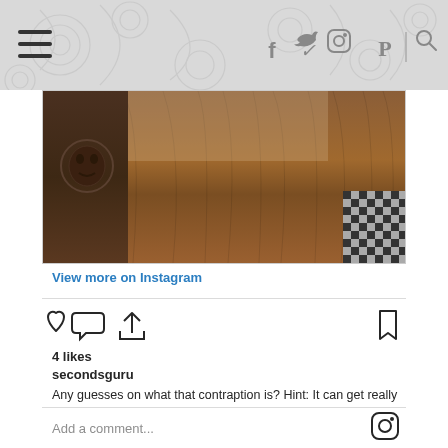Social media icons: Facebook, Twitter, Instagram, Pinterest, Search; Hamburger menu
[Figure (photo): Photo of a wooden contraption/device on a wooden table surface, with a dark carved wooden block visible on the left and checkered fabric on the right]
View more on Instagram
[Figure (infographic): Instagram action icons: heart (like), comment bubble, share arrow on left; bookmark on right]
4 likes
secondsguru
Any guesses on what that contraption is? Hint: It can get really hot!! #greenlivingmadeeasy @hocksiong
view all comments
Add a comment...